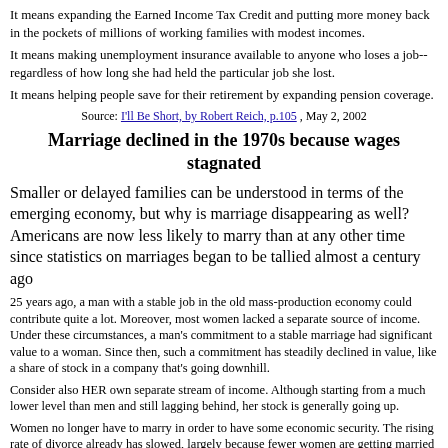It means expanding the Earned Income Tax Credit and putting more money back in the pockets of millions of working families with modest incomes.
It means making unemployment insurance available to anyone who loses a job-- regardless of how long she had held the particular job she lost.
It means helping people save for their retirement by expanding pension coverage.
Source: I'll Be Short, by Robert Reich, p.105 , May 2, 2002
Marriage declined in the 1970s because wages stagnated
Smaller or delayed families can be understood in terms of the emerging economy, but why is marriage disappearing as well? Americans are now less likely to marry than at any other time since statistics on marriages began to be tallied almost a century ago
25 years ago, a man with a stable job in the old mass-production economy could contribute quite a lot. Moreover, most women lacked a separate source of income. Under these circumstances, a man's commitment to a stable marriage had significant value to a woman. Since then, such a commitment has steadily declined in value, like a share of stock in a company that's going downhill.
Consider also HER own separate stream of income. Although starting from a much lower level than men and still lagging behind, her stock is generally going up.
Women no longer have to marry in order to have some economic security. The rising rate of divorce already has slowed, largely because fewer women are getting married in the first place.
Source: The Future of Success, by Robert Reich, p.165-167 , Feb 8, 2002